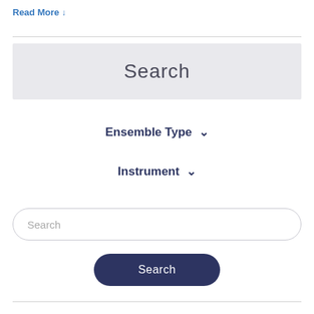Read More ↓
Search
Ensemble Type ∨
Instrument ∨
Search
Search